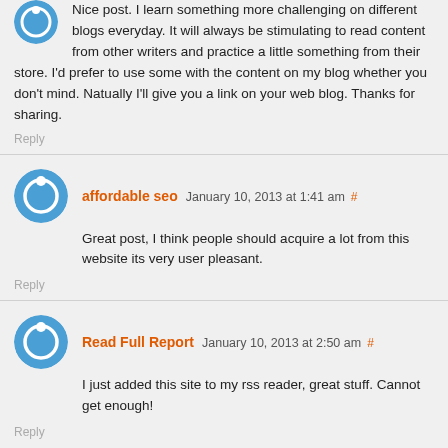Nice post. I learn something more challenging on different blogs everyday. It will always be stimulating to read content from other writers and practice a little something from their store. I’d prefer to use some with the content on my blog whether you don’t mind. Natually I'll give you a link on your web blog. Thanks for sharing.
Reply
affordable seo January 10, 2013 at 1:41 am #
Great post, I think people should acquire a lot from this website its very user pleasant.
Reply
Read Full Report January 10, 2013 at 2:50 am #
I just added this site to my rss reader, great stuff. Cannot get enough!
Reply